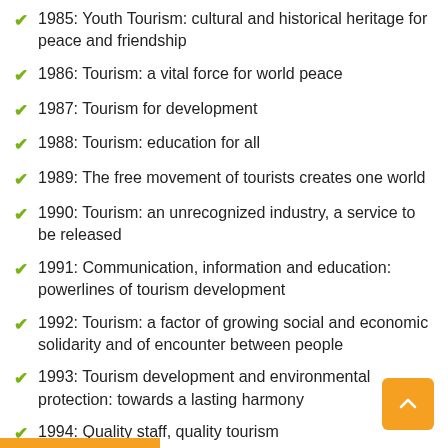1985: Youth Tourism: cultural and historical heritage for peace and friendship
1986: Tourism: a vital force for world peace
1987: Tourism for development
1988: Tourism: education for all
1989: The free movement of tourists creates one world
1990: Tourism: an unrecognized industry, a service to be released
1991: Communication, information and education: powerlines of tourism development
1992: Tourism: a factor of growing social and economic solidarity and of encounter between people
1993: Tourism development and environmental protection: towards a lasting harmony
1994: Quality staff, quality tourism
1995: WTO: serving world tourism for twenty years
1996: Tourism: a factor of tolerance and peace
1997: Tourism: a leading activity of the twenty-first century for job